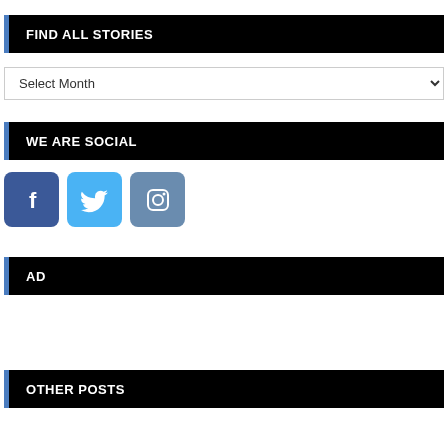FIND ALL STORIES
Select Month
WE ARE SOCIAL
[Figure (infographic): Three social media icon buttons: Facebook (dark blue), Twitter (light blue), Instagram (slate blue)]
AD
OTHER POSTS